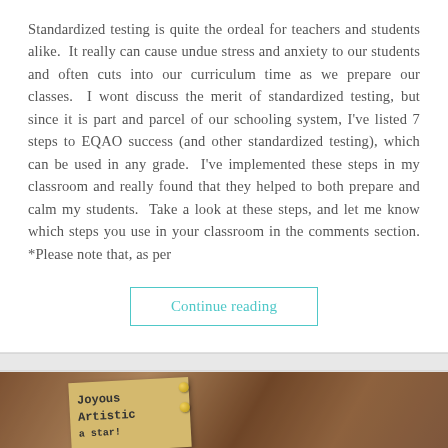Standardized testing is quite the ordeal for teachers and students alike.  It really can cause undue stress and anxiety to our students and often cuts into our curriculum time as we prepare our classes.  I wont discuss the merit of standardized testing, but since it is part and parcel of our schooling system, I've listed 7 steps to EQAO success (and other standardized testing), which can be used in any grade.  I've implemented these steps in my classroom and really found that they helped to both prepare and calm my students.  Take a look at these steps, and let me know which steps you use in your classroom in the comments section. *Please note that, as per
Continue reading
[Figure (photo): A photograph showing what appears to be a wooden surface with a yellow note card reading 'Joyous Artistic a star!' with gold tacks or pins nearby.]